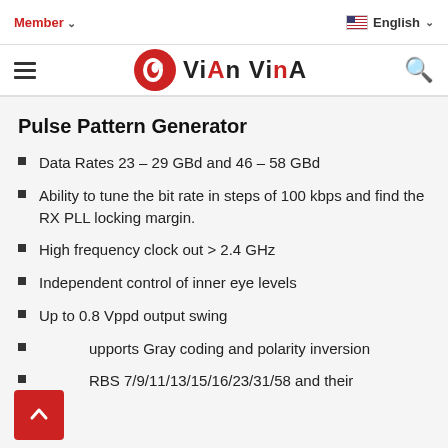Member ∨   🇺🇸 English ∨
[Figure (logo): VianVina logo with red circular icon and brand text 'ViAnVinA']
Pulse Pattern Generator
Data Rates 23 – 29 GBd and 46 – 58 GBd
Ability to tune the bit rate in steps of 100 kbps and find the RX PLL locking margin.
High frequency clock out > 2.4 GHz
Independent control of inner eye levels
Up to 0.8 Vppd output swing
Supports Gray coding and polarity inversion
PRBS 7/9/11/13/15/16/23/31/58 and their